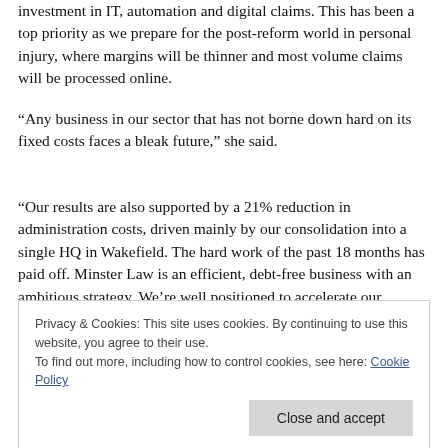investment in IT, automation and digital claims. This has been a top priority as we prepare for the post-reform world in personal injury, where margins will be thinner and most volume claims will be processed online.
“Any business in our sector that has not borne down hard on its fixed costs faces a bleak future,” she said.
“Our results are also supported by a 21% reduction in administration costs, driven mainly by our consolidation into a single HQ in Wakefield. The hard work of the past 18 months has paid off. Minster Law is an efficient, debt-free business with an ambitious strategy. We’re well positioned to accelerate our competitiveness in the market, further invest in our digital
Privacy & Cookies: This site uses cookies. By continuing to use this website, you agree to their use.
To find out more, including how to control cookies, see here: Cookie Policy
secured over £130m worth of damages on their behalf.”